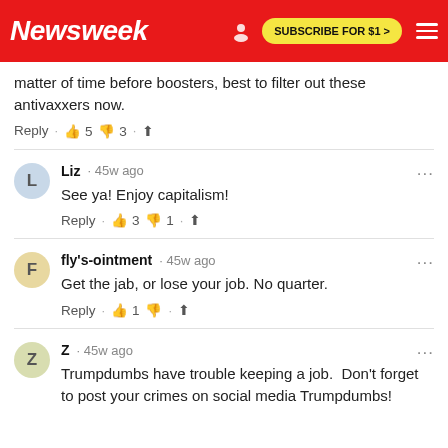Newsweek | SUBSCRIBE FOR $1 >
matter of time before boosters, best to filter out these antivaxxers now.
Reply · 👍 5 👎 3 · ⬆
Liz · 45w ago
See ya! Enjoy capitalism!
Reply · 👍 3 👎 1 · ⬆
fly's-ointment · 45w ago
Get the jab, or lose your job. No quarter.
Reply · 👍 1 👎 · ⬆
Z · 45w ago
Trumpdumbs have trouble keeping a job.  Don't forget to post your crimes on social media Trumpdumbs!